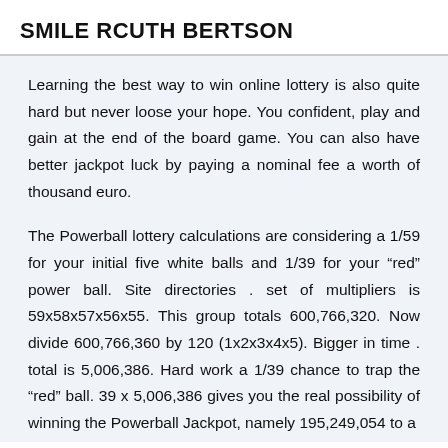SMILE RCUTH BERTSON
Learning the best way to win online lottery is also quite hard but never loose your hope. You confident, play and gain at the end of the board game. You can also have better jackpot luck by paying a nominal fee a worth of thousand euro.
The Powerball lottery calculations are considering a 1/59 for your initial five white balls and 1/39 for your “red” power ball. Site directories . set of multipliers is 59x58x57x56x55. This group totals 600,766,320. Now divide 600,766,360 by 120 (1x2x3x4x5). Bigger in time . total is 5,006,386. Hard work a 1/39 chance to trap the “red” ball. 39 x 5,006,386 gives you the real possibility of winning the Powerball Jackpot, namely 195,249,054 to a